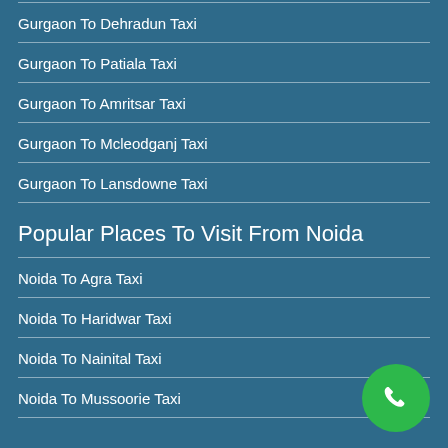Gurgaon To Dehradun Taxi
Gurgaon To Patiala Taxi
Gurgaon To Amritsar Taxi
Gurgaon To Mcleodganj Taxi
Gurgaon To Lansdowne Taxi
Popular Places To Visit From Noida
Noida To Agra Taxi
Noida To Haridwar Taxi
Noida To Nainital Taxi
Noida To Mussoorie Taxi
[Figure (illustration): Green circular phone call button in bottom-right corner]